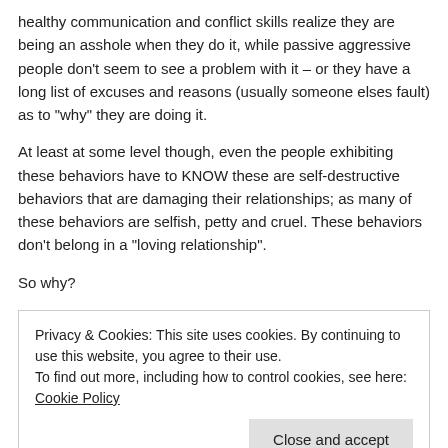healthy communication and conflict skills realize they are being an asshole when they do it, while passive aggressive people don't seem to see a problem with it – or they have a long list of excuses and reasons (usually someone elses fault) as to "why" they are doing it.
At least at some level though, even the people exhibiting these behaviors have to KNOW these are self-destructive behaviors that are damaging their relationships; as many of these behaviors are selfish, petty and cruel. These behaviors don't belong in a "loving relationship".
So why?
Privacy & Cookies: This site uses cookies. By continuing to use this website, you agree to their use.
To find out more, including how to control cookies, see here: Cookie Policy
Close and accept